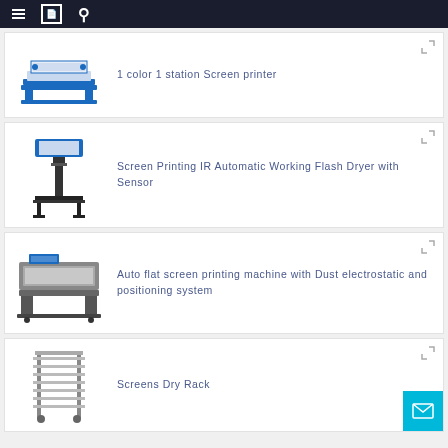Navigation bar with menu, bookmark, and search icons
1 color 1 station Screen printer
[Figure (photo): 1 color 1 station screen printing machine with blue frame]
Screen Printing IR Automatic Working Flash Dryer with Sensor
[Figure (photo): Screen printing IR automatic flash dryer with sensor on stand]
Auto flat screen printing machine with Dust electrostatic and positioning system
[Figure (photo): Auto flat screen printing machine with dust electrostatic and positioning system]
Screens Dry Rack
[Figure (photo): Metal screens dry rack with multiple shelves]